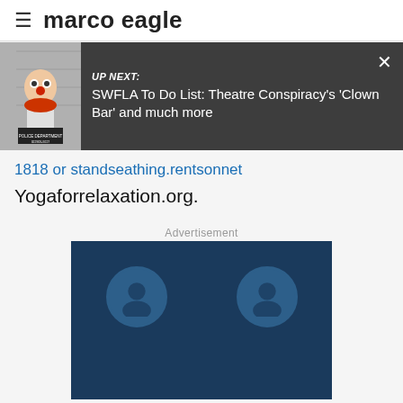marco eagle
[Figure (screenshot): UP NEXT overlay banner with mugshot thumbnail of a clown in police department booking photo. Text reads: UP NEXT: SWFLA To Do List: Theatre Conspiracy's 'Clown Bar' and much more. Close X button at right.]
1818 or standseathing.rentsonnet Yogaforrelaxation.org.
Advertisement
[Figure (other): Dark navy blue advertisement placeholder box with two circular person/avatar icons side by side]